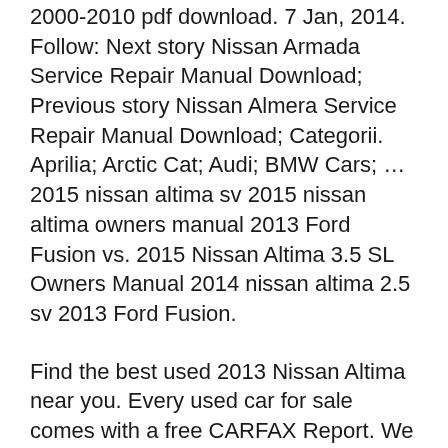2000-2010 pdf download. 7 Jan, 2014. Follow: Next story Nissan Armada Service Repair Manual Download; Previous story Nissan Almera Service Repair Manual Download; Categorii. Aprilia; Arctic Cat; Audi; BMW Cars; … 2015 nissan altima sv 2015 nissan altima owners manual 2013 Ford Fusion vs. 2015 Nissan Altima 3.5 SL Owners Manual 2014 nissan altima 2.5 sv 2013 Ford Fusion.
Find the best used 2013 Nissan Altima near you. Every used car for sale comes with a free CARFAX Report. We have 1,235 2013 Nissan Altima vehicles for sale that are reported accident free, 498 1-Owner cars, and 1,561 personal use cars. 19/04/2015 · Manual Shift Mode (if so equipped) Your vehicle may be